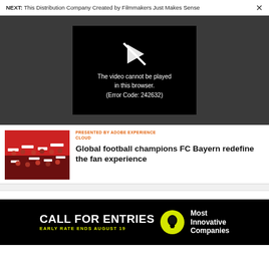NEXT: This Distribution Company Created by Filmmakers Just Makes Sense ×
[Figure (screenshot): Video player error box on dark gray background showing a play-button icon with a strikethrough and text: The video cannot be played in this browser. (Error Code: 242632)]
PRESENTED BY ADOBE EXPERIENCE CLOUD
Global football champions FC Bayern redefine the fan experience
[Figure (photo): Crowd of FC Bayern fans in red and white scarves in stadium stands]
[Figure (infographic): Advertisement banner: CALL FOR ENTRIES EARLY RATE ENDS AUGUST 19 with lightbulb icon and text Most Innovative Companies]